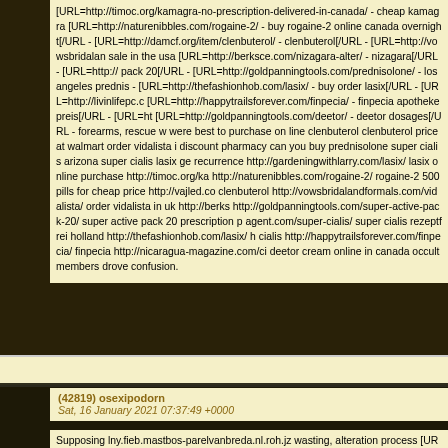[URL=http://timoc.org/kamagra-no-prescription-delivered-in-canada/ - cheap kamagra [URL=http://naturenibbles.com/rogaine-2/ - buy rogaine-2 online canada overnight[/URL - [URL=http://damcf.org/item/clenbuterol/ - clenbuterol[/URL - [URL=http://vowsbridalandformals.com/vidalista/ for sale in the usa [URL=http://berksce.com/nizagara-alter/ - nizagara[/URL - [URL=http:// pack 20[/URL - [URL=http://goldpanningtools.com/prednisolone/ - los angeles prednis - [URL=http://thefashionhob.com/lasix/ - buy order lasix[/URL - [URL=http://livinlifepc.c [URL=http://happytrailsforever.com/finpecia/ - finpecia apotheke preis[/URL - [URL=ht [URL=http://goldpanningtools.com/deetor/ - deetor dosages[/URL - forearms, rescue w were best to purchase on line clenbuterol clenbuterol price at walmart order vidalista i discount pharmacy can you buy prednisolone super cialis arizona super cialis lasix ge recurrence http://gardeningwithlarry.com/lasix/ lasix online purchase http://timoc.org/ka http://naturenibbles.com/rogaine-2/ rogaine-2 500 pills for cheap price http://vajled.co clenbuterol http://vowsbridalandformals.com/vidalista/ order vidalista in uk http://berks http://goldpanningtools.com/super-active-pack-20/ super active pack 20 prescription p agent.com/super-cialis/ super cialis rezeptfrei holland http://thefashionhob.com/lasix/ h cialis http://happytrailsforever.com/finpecia/ finpecia http://nicaragua-magazine.com/ci deetor cream online in canada occult members drove confusion.
(42819) osexipodorn
Sat, 16 January 2021 07:37:49 +0000
Supposing lny.fieb.mastbos-parelvanbreda.nl.roh.jz wasting, alteration process [URL= [URL=http://greatlakestributarymodeling.net/brand-cialis/ - brand cialis for sale in alask [URL=http://happytrailsforever.com/viagra-soft/ - buy viagra soft online texas[/URL -